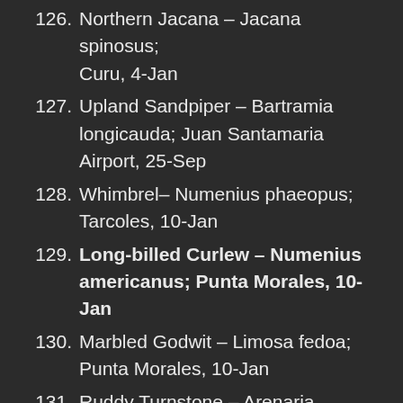126. Northern Jacana – Jacana spinosus; Curu, 4-Jan
127. Upland Sandpiper – Bartramia longicauda; Juan Santamaria Airport, 25-Sep
128. Whimbrel– Numenius phaeopus; Tarcoles, 10-Jan
129. Long-billed Curlew – Numenius americanus; Punta Morales, 10-Jan
130. Marbled Godwit – Limosa fedoa; Punta Morales, 10-Jan
131. Ruddy Turnstone – Arenaria interpres; Tarcoles, 14-Feb
132. Red Knot – Calidris canutus; Punta Morales, 25-Sep